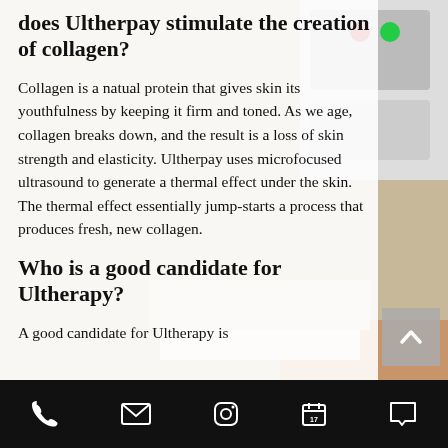does Ultherpay stimulate the creation of collagen?
Collagen is a natual protein that gives skin its youthfulness by keeping it firm and toned. As we age, collagen breaks down, and the result is a loss of skin strength and elasticity. Ultherpay uses microfocused ultrasound to generate a thermal effect under the skin. The thermal effect essentially jump-starts a process that produces fresh, new collagen.
Who is a good candidate for Ultherapy?
A good candidate for Ultherapy is
[Figure (screenshot): Bottom mobile navigation bar with phone, email, Instagram, calendar, and chat icons on black background]
[Figure (photo): Background photo showing a medical/cosmetic device and a person's hand with glove in a clinical setting]